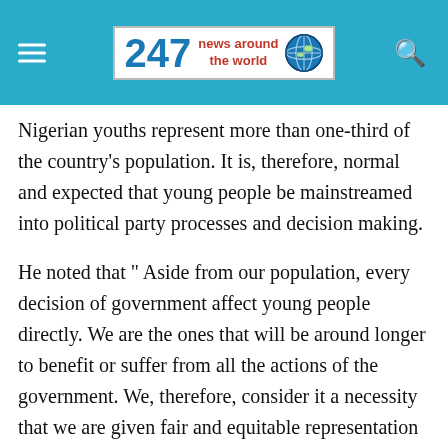247 news around the world
Nigerian youths represent more than one-third of the country’s population. It is, therefore, normal and expected that young people be mainstreamed into political party processes and decision making.
He noted that “ Aside from our population, every decision of government affect young people directly. We are the ones that will be around longer to benefit or suffer from all the actions of the government. We, therefore, consider it a necessity that we are given fair and equitable representation in matters that